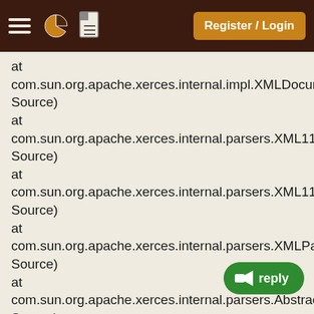Register / Login
at com.sun.org.apache.xerces.internal.impl.XMLDocumentFragmentScannerImpl.scanDocument(Unknown Source)
at com.sun.org.apache.xerces.internal.parsers.XML11Configuration.parse(Unknown Source)
at com.sun.org.apache.xerces.internal.parsers.XML11Configuration.parse(Unknown Source)
at com.sun.org.apache.xerces.internal.parsers.XMLParser.parse(Unknown Source)
at com.sun.org.apache.xerces.internal.parsers.AbstractSAXParser.parse(Unknown Source)
at com.sun.org.apache.xerces.internal.jaxp.SAXParserImpl$JAXPSAXParser.parse(Unknown Source)
at javax.xml.parsers.SAXParser.parse(Unknown